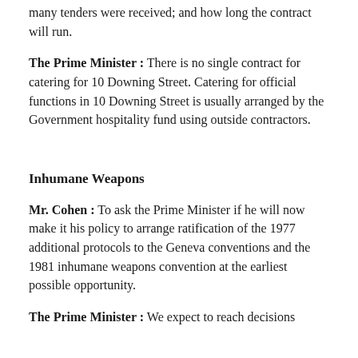many tenders were received; and how long the contract will run.
The Prime Minister : There is no single contract for catering for 10 Downing Street. Catering for official functions in 10 Downing Street is usually arranged by the Government hospitality fund using outside contractors.
Inhumane Weapons
Mr. Cohen : To ask the Prime Minister if he will now make it his policy to arrange ratification of the 1977 additional protocols to the Geneva conventions and the 1981 inhumane weapons convention at the earliest possible opportunity.
The Prime Minister : We expect to reach decisions